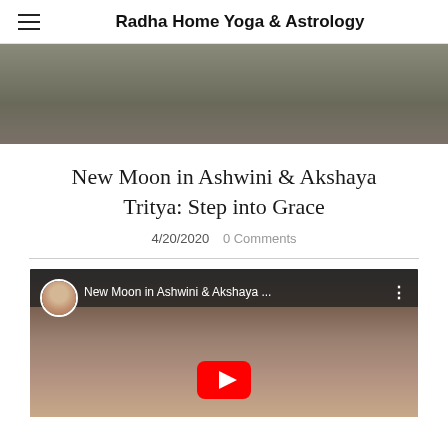Radha Home Yoga & Astrology
[Figure (photo): Hero banner image with muted olive/grey tones, appears to be an indoor scene]
New Moon in Ashwini & Akshaya Tritya: Step into Grace
4/20/2020  0 Comments
[Figure (screenshot): YouTube video thumbnail showing a woman's face with video title 'New Moon in Ashwini & Akshaya ...' and a red play button]